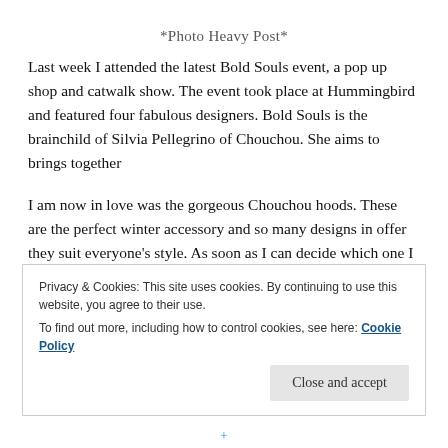*Photo Heavy Post*
Last week I attended the latest Bold Souls event, a pop up shop and catwalk show. The event took place at Hummingbird and featured four fabulous designers. Bold Souls is the brainchild of Silvia Pellegrino of Chouchou. She aims to brings together
I am now in love was the gorgeous Chouchou hoods. These are the perfect winter accessory and so many designs in offer they suit everyone's style. As soon as I can decide which one I like best I'll be getting one. I'm swithering between the tartan studs and
Privacy & Cookies: This site uses cookies. By continuing to use this website, you agree to their use.
To find out more, including how to control cookies, see here: Cookie Policy
Close and accept